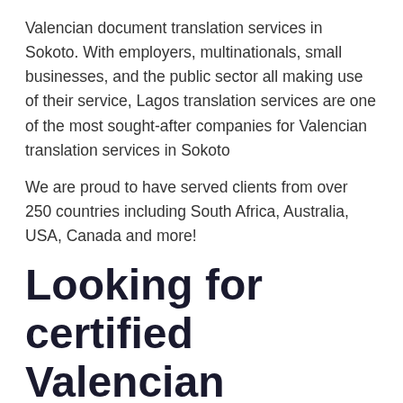Valencian document translation services in Sokoto. With employers, multinationals, small businesses, and the public sector all making use of their service, Lagos translation services are one of the most sought-after companies for Valencian translation services in Sokoto
We are proud to have served clients from over 250 countries including South Africa, Australia, USA, Canada and more!
Looking for certified Valencian translation services in Sokoto?
Lagos translation services is a certified Valencian translation service provider in Sokoto. We offer translations in Valencian to English and other 250 languages. They are used by